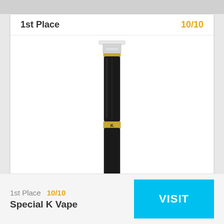1st Place	10/10
[Figure (photo): A sleek black vape pen (Special K Vape) with a flat transparent mouthpiece at the top and a gold band in the middle bearing a logo, photographed on a white background.]
1st Place  10/10
Special K Vape
VISIT